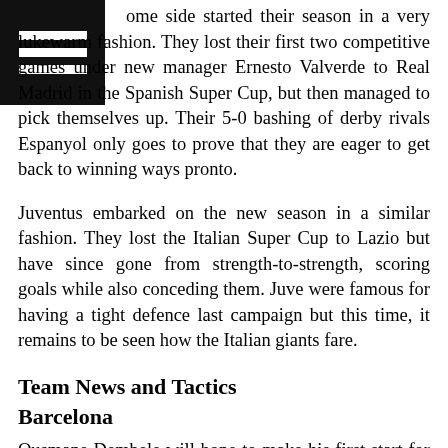[Figure (other): Black square with three horizontal white hamburger menu lines]
ome side started their season in a very lukewarm fashion. They lost their first two competitive games under new manager Ernesto Valverde to Real Madrid in the Spanish Super Cup, but then managed to pick themselves up. Their 5-0 bashing of derby rivals Espanyol only goes to prove that they are eager to get back to winning ways pronto.
Juventus embarked on the new season in a similar fashion. They lost the Italian Super Cup to Lazio but have since gone from strength-to-strength, scoring goals while also conceding them. Juve were famous for having a tight defence last campaign but this time, it remains to be seen how the Italian giants fare.
Team News and Tactics
Barcelona
Ousmane Dembele will hope to make his first start for Barcelona after making his debut from the bench